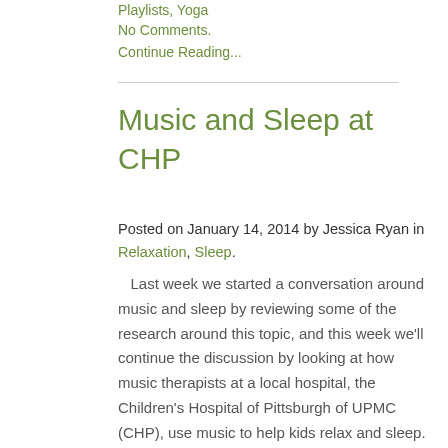Playlists, Yoga
No Comments.
Continue Reading...
Music and Sleep at CHP
Posted on January 14, 2014 by Jessica Ryan in Relaxation, Sleep.
Last week we started a conversation around music and sleep by reviewing some of the research around this topic, and this week we'll continue the discussion by looking at how music therapists at a local hospital, the Children's Hospital of Pittsburgh of UPMC (CHP), use music to help kids relax and sleep. Watch the […]